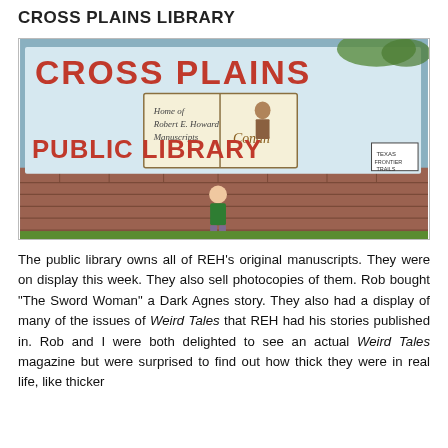CROSS PLAINS LIBRARY
[Figure (photo): Photograph of a person standing in front of the Cross Plains Public Library mural on a brick wall. The mural reads 'CROSS PLAINS' in large red letters at the top, with text 'Home of Robert E. Howard Manuscripts' and 'Conan' on an illustrated open book, and 'PUBLIC LIBRARY' in large red letters at the bottom. A Texas Pioneer Trails marker is visible in the lower right.]
The public library owns all of REH's original manuscripts.  They were on display this week.  They also sell photocopies of them.  Rob bought "The Sword Woman" a Dark Agnes story.  They also had a display of many of the issues of Weird Tales that REH had his stories published in.  Rob and I were both delighted to see an actual Weird Tales magazine but were surprised to find out how thick they were in real life, like thicker